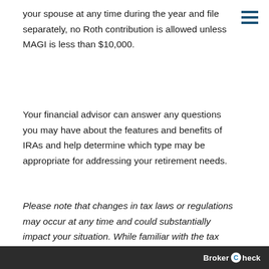your spouse at any time during the year and file separately, no Roth contribution is allowed unless MAGI is less than $10,000.
Your financial advisor can answer any questions you may have about the features and benefits of IRAs and help determine which type may be appropriate for addressing your retirement needs.
Please note that changes in tax laws or regulations may occur at any time and could substantially impact your situation. While familiar with the tax provisions of the issues presented herein, Raymond James financial advisors are not qualified to render advice on tax or legal matters.
BrokerCheck